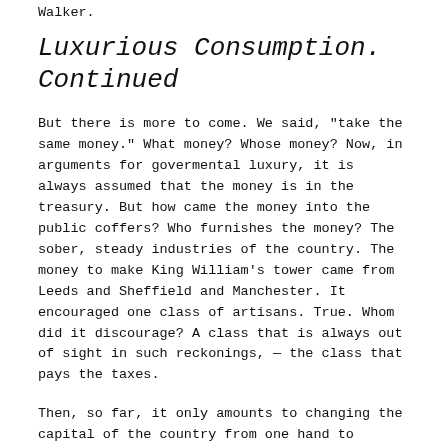Walker.
Luxurious Consumption. Continued
But there is more to come. We said, "take the same money." What money? Whose money? Now, in arguments for govermental luxury, it is always assumed that the money is in the treasury. But how came the money into the public coffers? Who furnishes the money? The sober, steady industries of the country. The money to make King William's tower came from Leeds and Sheffield and Manchester. It encouraged one class of artisans. True. Whom did it discourage? A class that is always out of sight in such reckonings, — the class that pays the taxes.
Then, so far, it only amounts to changing the capital of the country from one hand to another; employing one class by turning off another; a change that is never made without distress and loss.
There is still more to be said. If the wealth had remained in the hands of the manufacturer, say, it would have been capital, and supported